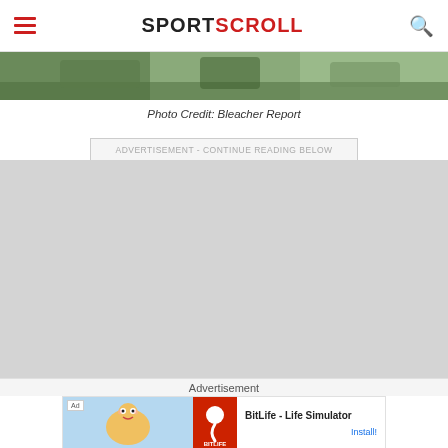SPORTSCROLL
[Figure (photo): Sports photo strip showing outdoor scene]
Photo Credit: Bleacher Report
ADVERTISEMENT - CONTINUE READING BELOW
[Figure (other): Gray advertisement placeholder area]
Advertisement
[Figure (other): BitLife - Life Simulator app advertisement banner with cartoon character and red BitLife logo]